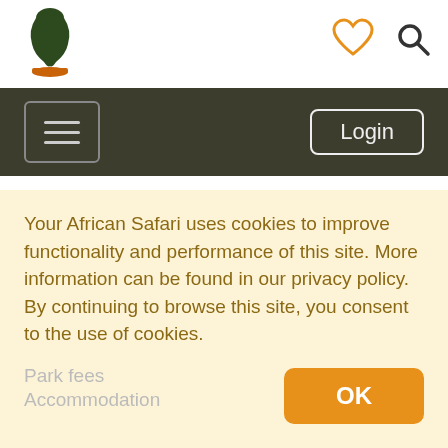[Figure (logo): YAS Africa safari logo - stylized Africa continent shape in dark green with small figure on top, on an orange/brown base]
[Figure (infographic): Heart icon (outline) in orange and search/magnify icon in dark grey in top right header]
[Figure (infographic): Dark olive navigation bar with hamburger menu button on left and Login button on right]
Rwanda (with Rwanda flag)
Uganda (with Uganda flag)
Parks visited
Bwindi Impenetrable
Mgahinga
What's included?
Your African Safari uses cookies to improve functionality and performance of this site. More information can be found in our privacy policy.
By continuing to browse this site, you consent to the use of cookies.
Park fees
Accommodation